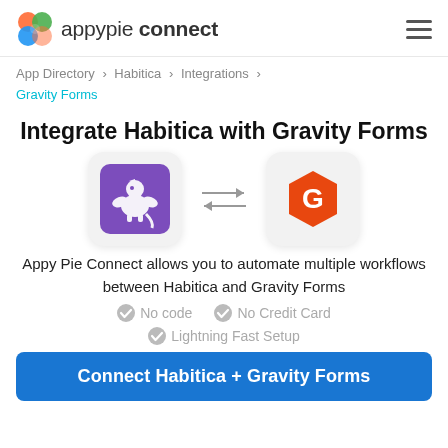appypie connect
App Directory > Habitica > Integrations > Gravity Forms
Integrate Habitica with Gravity Forms
[Figure (logo): Habitica app logo (purple square with griffin) and Gravity Forms logo (orange hexagon with G), connected by bidirectional arrows]
Appy Pie Connect allows you to automate multiple workflows between Habitica and Gravity Forms
No code
No Credit Card
Lightning Fast Setup
Connect Habitica + Gravity Forms